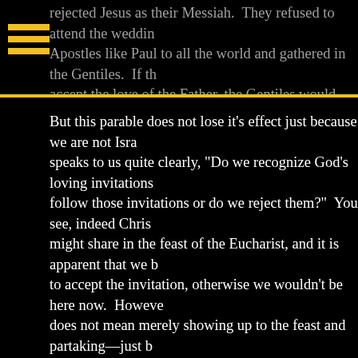rejected Jesus as their Messiah.  They refused to attend the wedding... Apostles like Paul to all the world and gathered in the Gentiles.  If th... accept the love of the Father, the Gentiles would become the heirs t...
But this parable does not lose it's effect just because we are not Isra... speaks to us quite clearly, "Do we recognize God's loving invitations... follow those invitations or do we reject them?"  You see, indeed Chris... might share in the feast of the Eucharist, and it is apparent that we b... to accept the invitation, otherwise we wouldn't be here now.  Howeve... does not mean merely showing up to the feast and partaking—just b... does not mean we have truly accepted the invitation.
In order to fully accept the invitation of the king to the wedding feast,... that the invitation entails.  Jesus tells us in the Gospels, "[T]he king w... right, 'Come, you who are blessed by my Father.  Inherit the kingdom... foundation of the world.  For I was hungry and you gave me food, I w... drink, a stranger and you welcomed me, naked and you clothed me,... prison and you visited me…  Amen, I say to you, whatever you did fo... of mine, you did for me.'" The king does not say, "Inherit the kingdom... He gives very specific reasons for one to inherit the kingdom.  But do... only have to work for the material needs of others and Mass is just L... essential, for elsewhere Jesus says, "Amen, amen, I say to you,...